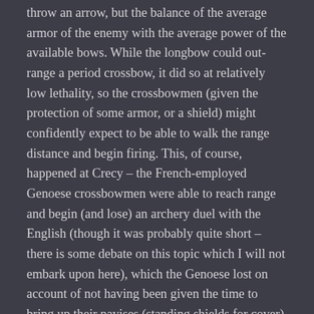throw an arrow, but the balance of the average armor of the enemy with the average power of the available bows. While the longbow could out-range a period crossbow, it did so at relatively low lethality, so the crossbowmen (given the protection of some armor, or a shield) might confidently expect to be able to walk the range distance and begin firing. This, of course, happened at Crecy – the French-employed Genoese crossbowmen were able to reach range and begin (and lose) an archery duel with the English (though it was probably quite short – there is some debate on this topic which I will not embark upon here), which the Genoese lost on account of not having been given the time to bring up their pavises (standing shields for cover). In the Total War model, the crossbowmen would never have reached range in the first place.